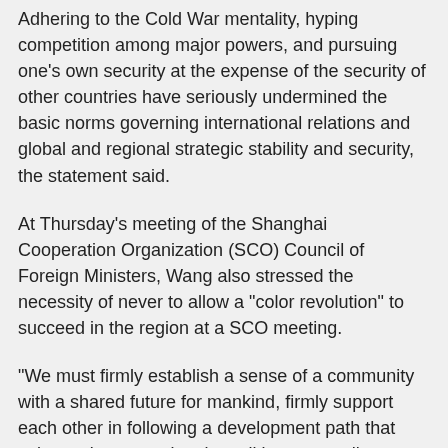Adhering to the Cold War mentality, hyping competition among major powers, and pursuing one's own security at the expense of the security of other countries have seriously undermined the basic norms governing international relations and global and regional strategic stability and security, the statement said.
At Thursday's meeting of the Shanghai Cooperation Organization (SCO) Council of Foreign Ministers, Wang also stressed the necessity of never to allow a "color revolution" to succeed in the region at a SCO meeting.
"We must firmly establish a sense of a community with a shared future for mankind, firmly support each other in following a development path that suits one's own national conditions, as well as maintaining political security and social stability, and never allow external forces to interfere in the internal affairs of SCO member countries, a 'color revolution' to succeed in this region, or the regional peace and stability to be undermined," he said.
Li Haidong, a professor at the Institute of International